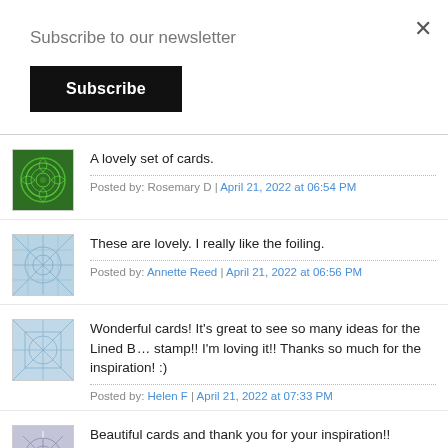Subscribe to our newsletter
Subscribe
A lovely set of cards.
Posted by: Rosemary D | April 21, 2022 at 06:54 PM
These are lovely. I really like the foiling.
Posted by: Annette Reed | April 21, 2022 at 06:56 PM
Wonderful cards! It's great to see so many ideas for the Lined B... stamp!! I'm loving it!! Thanks so much for the inspiration! :)
Posted by: Helen F | April 21, 2022 at 07:33 PM
Beautiful cards and thank you for your inspiration!!